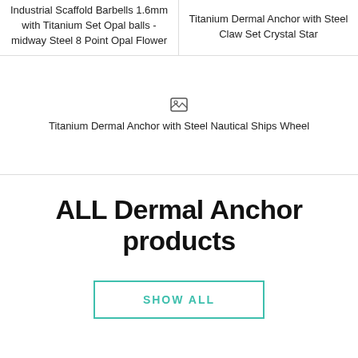Industrial Scaffold Barbells 1.6mm with Titanium Set Opal balls - midway Steel 8 Point Opal Flower
Titanium Dermal Anchor with Steel Claw Set Crystal Star
[Figure (photo): Image placeholder icon in center of empty white section]
Titanium Dermal Anchor with Steel Nautical Ships Wheel
ALL Dermal Anchor products
SHOW ALL